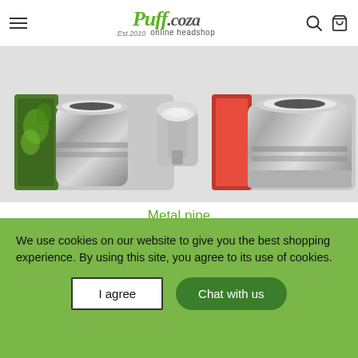Puff.coza Est 2010 online headshop
[Figure (photo): Close-up photo of metal pipe components — chrome/silver metal pipe bowls and fittings on a white background]
Metal pipe
R 35.00 ZAR
We use cookies on our website to give you the best shopping experience. By using this site, you agree to its use of cookies.
I agree
Chat with us